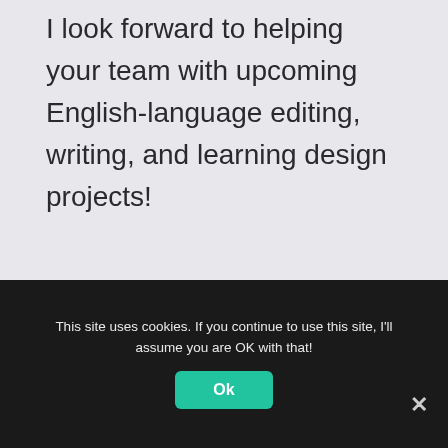I look forward to helping your team with upcoming English-language editing, writing, and learning design projects!
Betsy Hedberg
+31 (0)61 850 5055
This site uses cookies. If you continue to use this site, I'll assume you are OK with that!